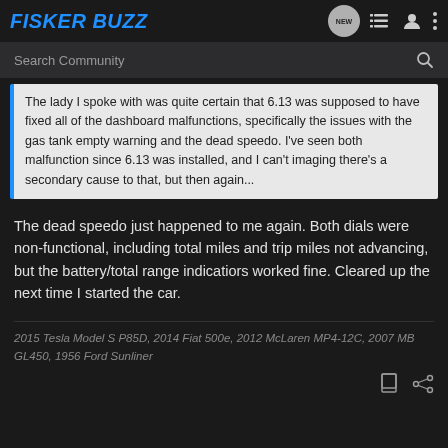FISKER BUZZ
Search Community
The lady I spoke with was quite certain that 6.13 was supposed to have fixed all of the dashboard malfunctions, specifically the issues with the gas tank empty warning and the dead speedo. I've seen both malfunction since 6.13 was installed, and I can't imaging there's a secondary cause to that, but then again...
The dead speedo just happened to me again. Both dials were non-functional, including total miles and trip miles not advancing, but the battery/total range indicatiors worked fine. Cleared up the next time I started the car.
2015 Tesla Model S P85D, 2014 Fiat 500e, 2012 McLaren MP4-12C, 2007 MB GL450, 1956 Ford Sunliner